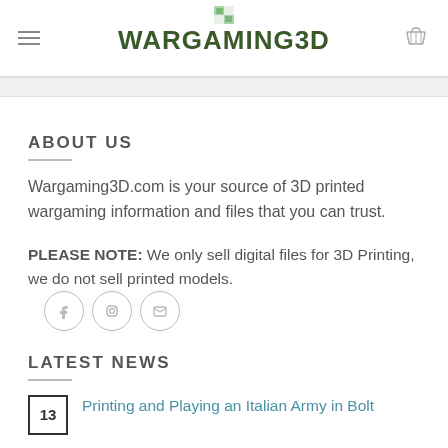WARGAMING3D
ABOUT US
Wargaming3D.com is your source of 3D printed wargaming information and files that you can trust.
PLEASE NOTE: We only sell digital files for 3D Printing, we do not sell printed models.
LATEST NEWS
Printing and Playing an Italian Army in Bolt